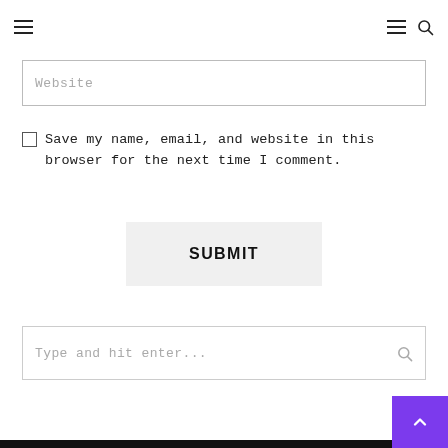Navigation header with hamburger menus and search icon
Website
Save my name, email, and website in this browser for the next time I comment.
SUBMIT
Type and hit enter...